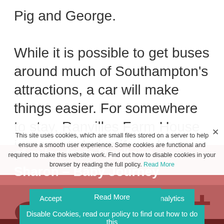Pig and George.
While it is possible to get buses around much of Southampton's attractions, a car will make things easier. For somewhere to stay, Ranvilles Farm House is a great choice if you have your own car just a couple of miles from Paultons
Sharon – Baby Journey
This site uses cookies, which are small files stored on a server to help ensure a smooth user experience. Some cookies are functional and required to make this website work. Find out how to disable cookies in your browser by reading the full policy. Read More
Accept all cookies including Google Analytics
Disable Cookies, read our policy to find out how to do this
Read More